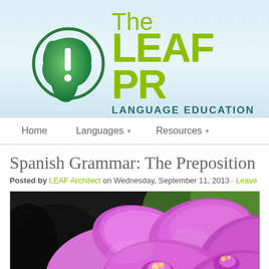[Figure (logo): The LEAF Project logo with green head/brain icon and text 'The LEAF PRO' and 'LANGUAGE EDUCATION ACCESS']
Home   Languages ▾   Resources ▾
Spanish Grammar: The Preposition [DE...
Posted by LEAF Architect on Wednesday, September 11, 2013 · Leave a Com...
[Figure (photo): Close-up photograph of purple/pink orchid flowers]